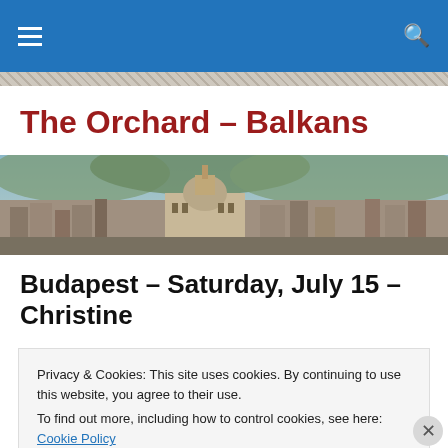Navigation bar with menu and search icons
The Orchard – Balkans
[Figure (photo): Panoramic cityscape photo of Budapest showing the Hungarian Parliament Building and surrounding city skyline with hills in the background]
Budapest – Saturday, July 15 – Christine
Privacy & Cookies: This site uses cookies. By continuing to use this website, you agree to their use.
To find out more, including how to control cookies, see here: Cookie Policy
Close and accept